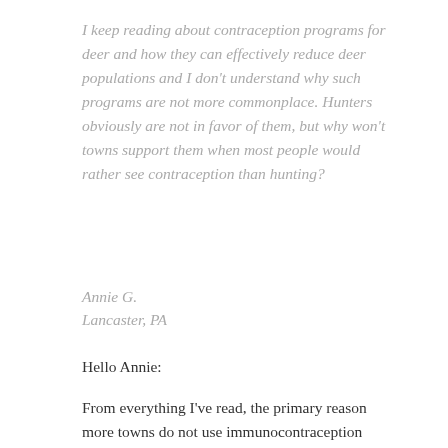I keep reading about contraception programs for deer and how they can effectively reduce deer populations and I don't understand why such programs are not more commonplace. Hunters obviously are not in favor of them, but why won't towns support them when most people would rather see contraception than hunting?
Annie G.
Lancaster, PA
Hello Annie:
From everything I've read, the primary reason more towns do not use immunocontraception programs is the expense of such programs. Some township